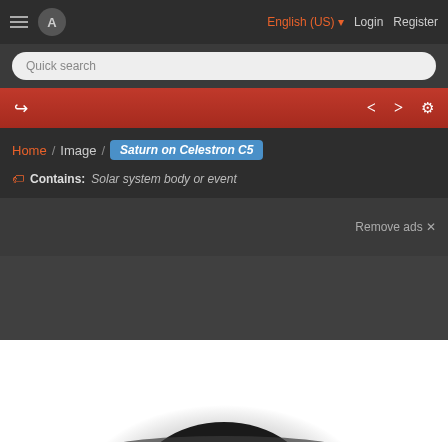English (US) | Login | Register
Quick search
Home / Image / Saturn on Celestron C5
Contains: Solar system body or event
Remove ads ✕
[Figure (photo): Partial dark background with a blurred image of Saturn beginning to appear at the bottom of the frame]